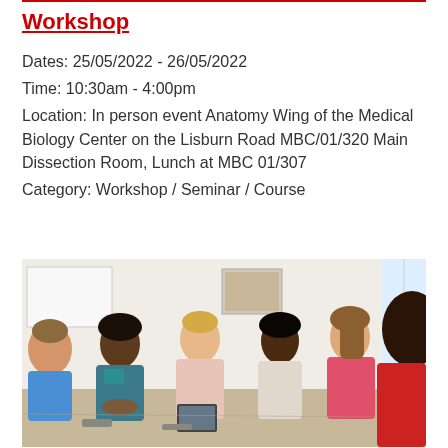Workshop
Dates: 25/05/2022 - 26/05/2022
Time: 10:30am - 4:00pm
Location: In person event Anatomy Wing of the Medical Biology Center on the Lisburn Road MBC/01/320 Main Dissection Room, Lunch at MBC 01/307
Category: Workshop / Seminar / Course
[Figure (photo): Group of diverse students sitting in a circle in a classroom setting, engaged in discussion]